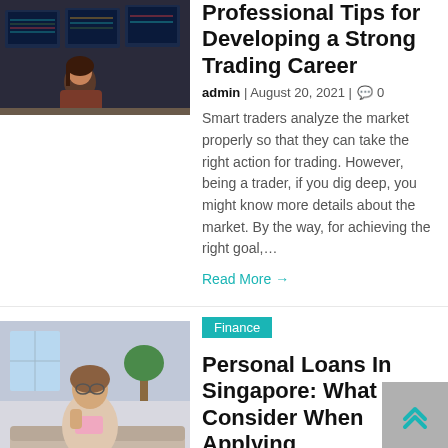[Figure (photo): Person sitting at trading desk with multiple monitors showing financial charts]
Professional Tips for Developing a Strong Trading Career
admin | August 20, 2021 | 0
Smart traders analyze the market properly so that they can take the right action for trading. However, being a trader, if you dig deep, you might know more details about the market. By the way, for achieving the right goal,...
Read More →
[Figure (photo): Person sitting on couch looking stressed, holding a small pink book or notebook, with an open binder on the table]
Finance
Personal Loans In Singapore: What To Consider When Applying
Clare Louise | July 18, 2021 | 0
Personal loans might be